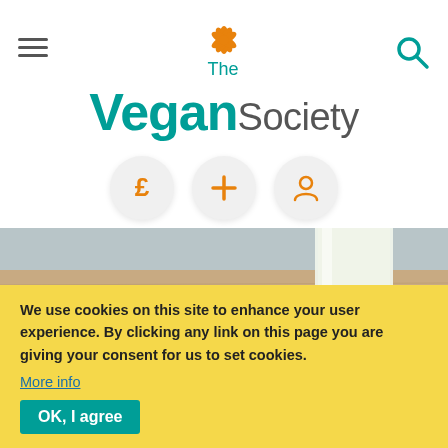[Figure (logo): The Vegan Society logo with orange lotus/leaf emblem above teal 'Vegan' text and grey 'Society' text, with hamburger menu icon on left and search icon on right]
[Figure (infographic): Three circular icon buttons: pound sign (£), plus sign (+), and person/account icon, all in orange on grey circles]
[Figure (photo): Photo of a glass of white plant-based milk on a wooden surface with soybeans scattered around, blurred grey background]
We use cookies on this site to enhance your user experience. By clicking any link on this page you are giving your consent for us to set cookies.
More info
OK, I agree